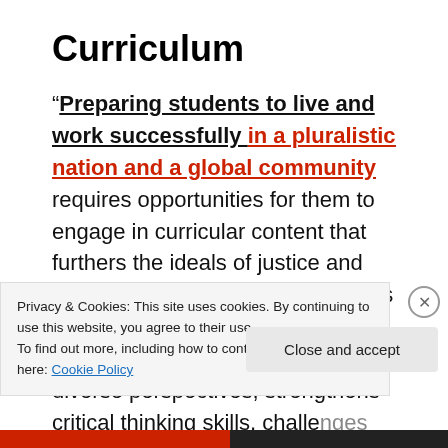Curriculum
“Preparing students to live and work successfully in a pluralistic nation and a global community requires opportunities for them to engage in curricular content that furthers the ideals of justice and equality upon which the nation was founded. Anti-bias curriculum provides an understanding of diverse perspectives, strengthens critical thinking skills, challenges the development of emerging…
Privacy & Cookies: This site uses cookies. By continuing to use this website, you agree to their use.
To find out more, including how to control cookies, see here: Cookie Policy